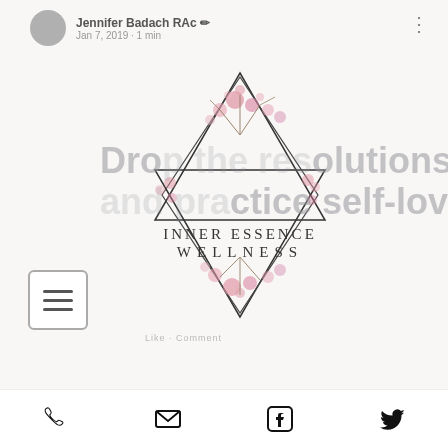[Figure (screenshot): Social media post screenshot showing Inner Essence Wellness logo with geometric star shape and cherry blossoms, overlaid on a website page. Author Jennifer Badach RAc, Jan 7, 2019, 1 min. Title text 'Drop the resolutions and practice self-love' partially visible. Hamburger menu icon on left. Three-dot menu top right.]
[Figure (logo): Inner Essence Wellness logo: geometric star of David shape made of triangles, decorated with pink cherry blossom flowers, text 'INNER ESSENCE WELLNESS' below center intersection]
Jennifer Badach RAc
Jan 7, 2019 · 1 min
Drop the resolutions and practice self-love
[Figure (infographic): Bottom social bar with phone, email, Facebook, and Twitter icons]